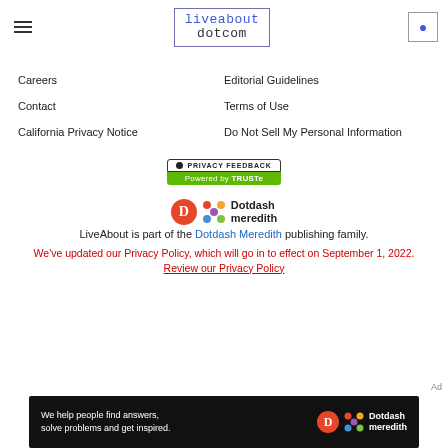liveabout dotcom navigation header
Careers
Editorial Guidelines
Contact
Terms of Use
California Privacy Notice
Do Not Sell My Personal Information
[Figure (logo): Privacy Feedback badge - Powered by TRUSTe]
[Figure (logo): Dotdash Meredith logo]
LiveAbout is part of the Dotdash Meredith publishing family.
We've updated our Privacy Policy, which will go in to effect on September 1, 2022. Review our Privacy Policy
[Figure (illustration): Dotdash Meredith ad banner: We help people find answers, solve problems and get inspired.]